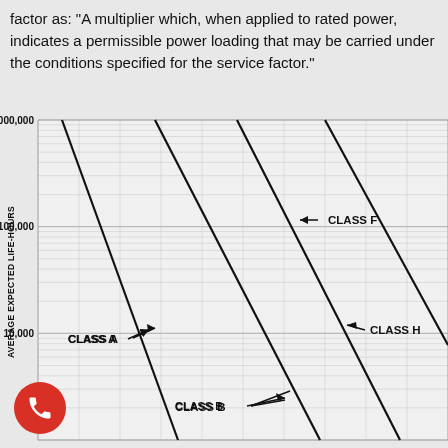factor as: "A multiplier which, when applied to rated power, indicates a permissible power loading that may be carried under the conditions specified for the service factor."
[Figure (continuous-plot): Log-log chart showing Average Expected Life-Hours (y-axis, 1000 to 1,000,000) vs an unlabeled x-axis. Four diagonal lines (CLASS A, CLASS B, CLASS F, CLASS H) run from upper-left to lower-right, representing different insulation class life expectancy curves.]